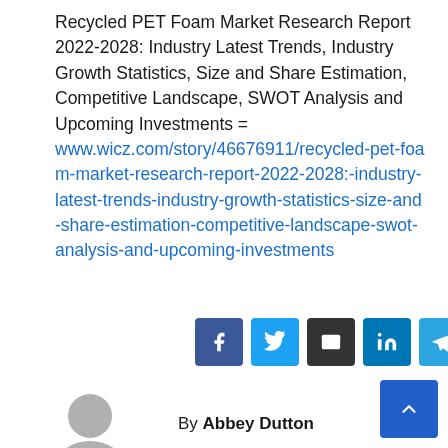Recycled PET Foam Market Research Report 2022-2028: Industry Latest Trends, Industry Growth Statistics, Size and Share Estimation, Competitive Landscape, SWOT Analysis and Upcoming Investments = www.wicz.com/story/46676911/recycled-pet-foam-market-research-report-2022-2028:-industry-latest-trends-industry-growth-statistics-size-and-share-estimation-competitive-landscape-swot-analysis-and-upcoming-investments
[Figure (other): Social sharing buttons: Facebook (blue), Twitter (light blue), Email (dark/black), LinkedIn (blue), Telegram (blue), Pinterest (red)]
[Figure (photo): Author avatar: grey circular profile placeholder]
By Abbey Dutton